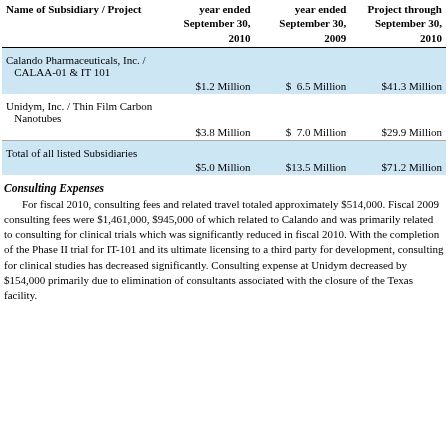| Name of Subsidiary / Project | For the year ended September 30, 2010 | For the year ended September 30, 2009 | Inception of Project through September 30, 2010 |
| --- | --- | --- | --- |
| Calando Pharmaceuticals, Inc. / CALAA-01 & IT 101 | $1.2 Million | $  6.5 Million | $41.3 Million |
| Unidym, Inc. / Thin Film Carbon Nanotubes | $3.8 Million | $  7.0 Million | $29.9 Million |
| Total of all listed Subsidiaries | $5.0 Million | $13.5 Million | $71.2 Million |
Consulting Expenses
For fiscal 2010, consulting fees and related travel totaled approximately $514,000. Fiscal 2009 consulting fees were $1,461,000, $945,000 of which related to Calando and was primarily related to consulting for clinical trials which was significantly reduced in fiscal 2010. With the completion of the Phase II trial for IT-101 and its ultimate licensing to a third party for development, consulting for clinical studies has decreased significantly. Consulting expense at Unidym decreased by $154,000 primarily due to elimination of consultants associated with the closure of the Texas facility.